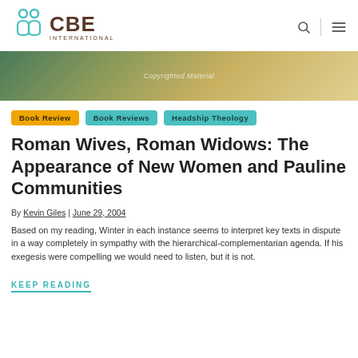CBE INTERNATIONAL
[Figure (photo): Hero image with gradient earthy tones, 'Copyrighted Material' watermark]
Book Review
Book Reviews
Headship Theology
Roman Wives, Roman Widows: The Appearance of New Women and Pauline Communities
By Kevin Giles | June 29, 2004
Based on my reading, Winter in each instance seems to interpret key texts in dispute in a way completely in sympathy with the hierarchical-complementarian agenda. If his exegesis were compelling we would need to listen, but it is not.
KEEP READING